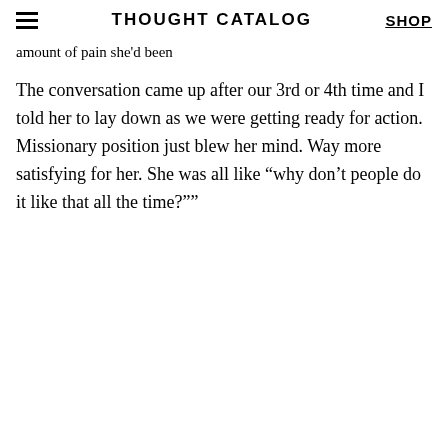THOUGHT CATALOG | SHOP
amount of pain she'd been
The conversation came up after our 3rd or 4th time and I told her to lay down as we were getting ready for action. Missionary position just blew her mind. Way more satisfying for her. She was all like “why don’t people do it like that all the time?””